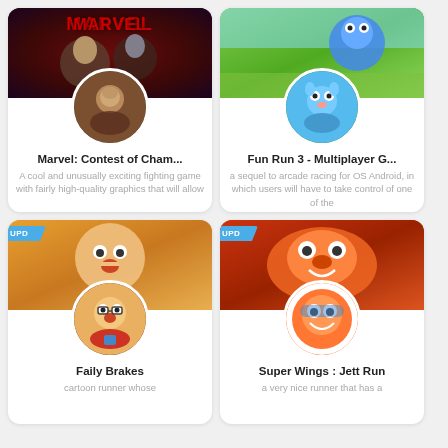[Figure (screenshot): App card for Marvel: Contest of Champions with banner image showing Marvel characters and circular icon]
Marvel: Contest of Cham...
A cool and unusually exciting fighting game with fairly high-quality graphics that will allow
[Figure (screenshot): App card for Fun Run 3 - Multiplayer G... with banner showing cartoon animals and circular icon]
Fun Run 3 - Multiplayer G...
a sequel to arcade racing for OS Android, in which users will have to take control of one of the
[Figure (screenshot): App card for Faily Brakes with UPD badge, banner showing cartoon character and circular icon]
Faily Brakes
cartoon runner whose
[Figure (screenshot): App card for Super Wings: Jett Run with UPD badge, banner showing orange robot plane and circular icon]
Super Wings : Jett Run
a very nice runner that has a